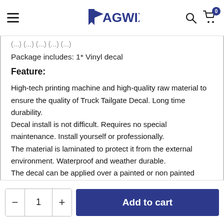FLAGWIX
Package includes: 1* Vinyl decal
Feature:
High-tech printing machine and high-quality raw material to ensure the quality of Truck Tailgate Decal. Long time durability.
Decal install is not difficult. Requires no special maintenance. Install yourself or professionally.
The material is laminated to protect it from the external environment. Waterproof and weather durable.
The decal can be applied over a painted or non painted surface.
Made to fit most pickup trucks.